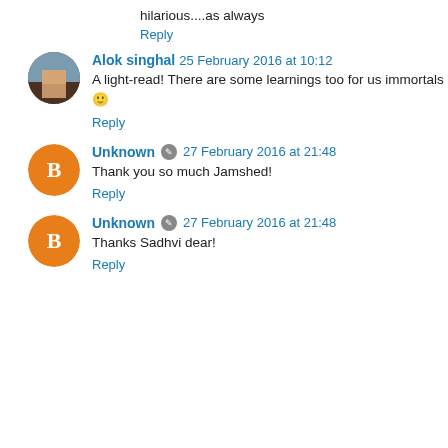hilarious....as always
Reply
Alok singhal  25 February 2016 at 10:12
A light-read! There are some learnings too for us immortals 🙂
Reply
Unknown  27 February 2016 at 21:48
Thank you so much Jamshed!
Reply
Unknown  27 February 2016 at 21:48
Thanks Sadhvi dear!
Reply